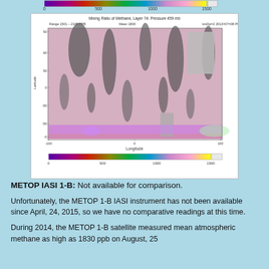[Figure (map): Global map showing methane mixing ratio at pressure level 459 mb. Range 1501-2165 PPB, Mean 1800. Color scale from purple/blue (low) to pink/red (high) to yellow (highest). Shows global distribution with visible latitude/longitude axes. Color bar below with scale 0-1500.]
METOP IASI 1-B: Not available for comparison.
Unfortunately, the METOP 1-B IASI instrument has not been available since April, 24, 2015, so we have no comparative readings at this time.
During 2014, the METOP 1-B satellite measured mean atmospheric methane as high as 1830 ppb on August, 25